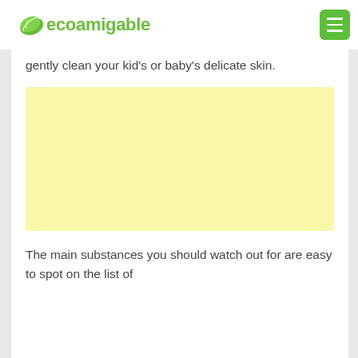ecoamigable
gently clean your kid's or baby's delicate skin.
[Figure (other): Yellow advertisement placeholder block]
The main substances you should watch out for are easy to spot on the list of